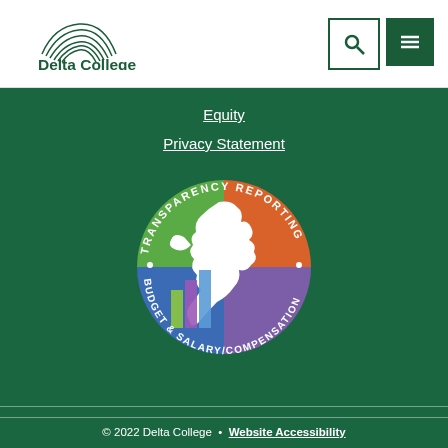[Figure (logo): Delta College logo with arch graphic above the text 'Delta College']
[Figure (infographic): Michigan Transparency Reporting Budget & Salary/Compensation circular seal with Michigan map and bar chart graphic in quadrant colors (green, orange, blue, purple)]
Equity
Privacy Statement
© 2022 Delta College • Website Accessibility